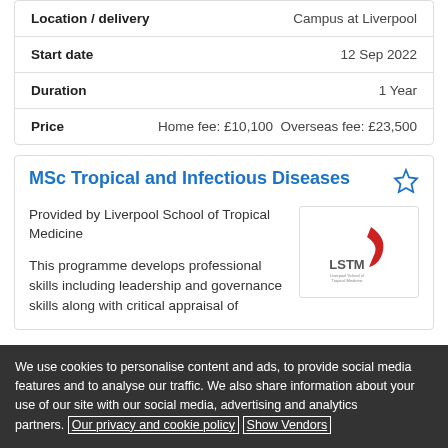| Field | Value |
| --- | --- |
| Location / delivery | Campus at Liverpool |
| Start date | 12 Sep 2022 |
| Duration | 1 Year |
| Price | Home fee: £10,100 Overseas fee: £23,500 |
MSc Tropical and Infectious Diseases
Provided by Liverpool School of Tropical Medicine
[Figure (logo): LSTM (Liverpool School of Tropical Medicine) logo with red swoosh/arrow and LSTM text]
This programme develops professional skills including leadership and governance skills along with critical appraisal of
We use cookies to personalise content and ads, to provide social media features and to analyse our traffic. We also share information about your use of our site with our social media, advertising and analytics partners. Our privacy and cookie policy Show Vendors